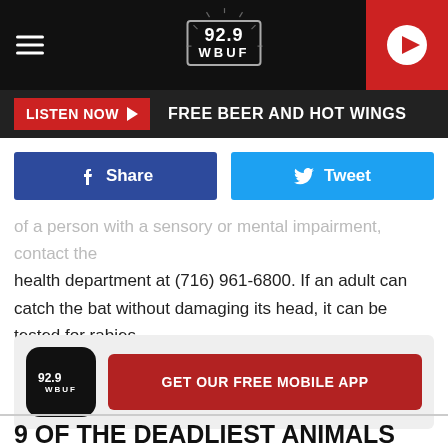92.9 WBUF
LISTEN NOW   FREE BEER AND HOT WINGS
[Figure (other): Facebook Share button and Twitter Tweet button]
of a person with a sensory or mental impairment, contact the health department at (716) 961-6800. If an adult can catch the bat without damaging its head, it can be tested for rabies.
[Figure (other): 92.9 WBUF app icon with GET OUR FREE MOBILE APP button]
9 OF THE DEADLIEST ANIMALS ON EARTH CAN BE FOUND IN NEW YORK STATE